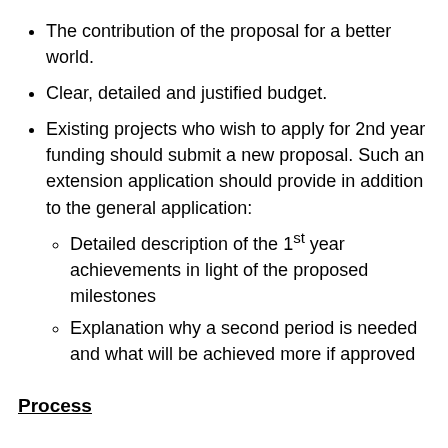The contribution of the proposal for a better world.
Clear, detailed and justified budget.
Existing projects who wish to apply for 2nd year funding should submit a new proposal. Such an extension application should provide in addition to the general application:
Detailed description of the 1st year achievements in light of the proposed milestones
Explanation why a second period is needed and what will be achieved more if approved
Process